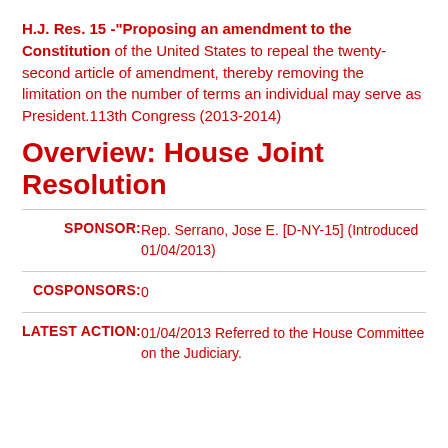H.J. Res. 15 -"Proposing an amendment to the Constitution of the United States to repeal the twenty-second article of amendment, thereby removing the limitation on the number of terms an individual may serve as President.113th Congress (2013-2014)
Overview: House Joint Resolution
| Field | Value |
| --- | --- |
| SPONSOR: | Rep. Serrano, Jose E. [D-NY-15] (Introduced 01/04/2013) |
| COSPONSORS: | 0 |
| LATEST ACTION: | 01/04/2013 Referred to the House Committee on the Judiciary. |